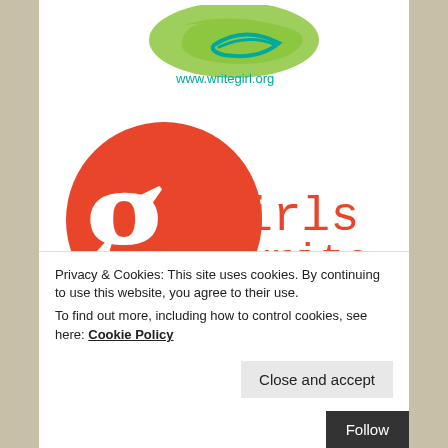[Figure (logo): WriteGirl logo with green and teal swirl graphic and text www.writegirl.org]
[Figure (logo): Girls Write Now logo — red-orange circle with large white lowercase g, followed by 'irls write now' in red-orange serif typewriter font]
[Figure (illustration): Partial view of a handwritten letter or signature in black ink, partially visible at the bottom of the page]
Privacy & Cookies: This site uses cookies. By continuing to use this website, you agree to their use.
To find out more, including how to control cookies, see here: Cookie Policy
Close and accept
Follow